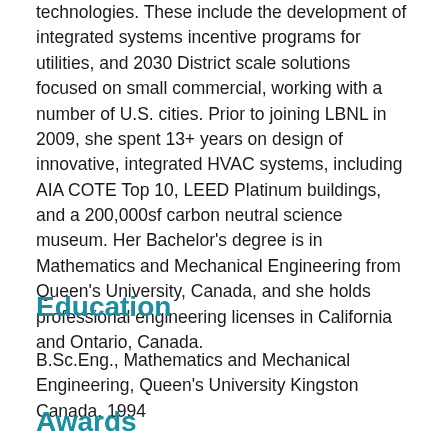technologies. These include the development of integrated systems incentive programs for utilities, and 2030 District scale solutions focused on small commercial, working with a number of U.S. cities. Prior to joining LBNL in 2009, she spent 13+ years on design of innovative, integrated HVAC systems, including AIA COTE Top 10, LEED Platinum buildings, and a 200,000sf carbon neutral science museum. Her Bachelor's degree is in Mathematics and Mechanical Engineering from Queen's University, Canada, and she holds professional engineering licenses in California and Ontario, Canada.
Education
B.Sc.Eng., Mathematics and Mechanical Engineering, Queen's University Kingston Canada, 1994
Awards